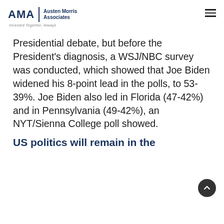AMA | Austen Morris Associates — Invested Together, Always
Presidential debate, but before the President's diagnosis, a WSJ/NBC survey was conducted, which showed that Joe Biden widened his 8-point lead in the polls, to 53-39%. Joe Biden also led in Florida (47-42%) and in Pennsylvania (49-42%), an NYT/Sienna College poll showed.
US politics will remain in the